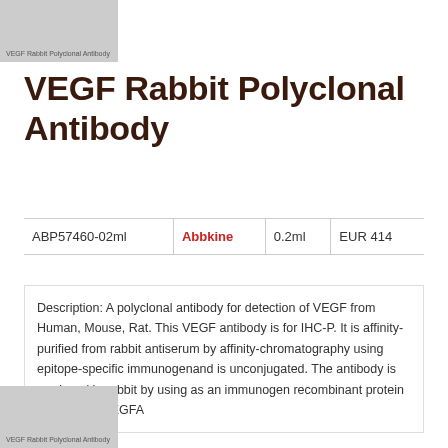VEGF Rabbit Polyclonal Antibody
VEGF Rabbit Polyclonal Antibody
|  |  |  |  |
| --- | --- | --- | --- |
| ABP57460-02ml | Abbkine | 0.2ml | EUR 414 |
Description: A polyclonal antibody for detection of VEGF from Human, Mouse, Rat. This VEGF antibody is for IHC-P. It is affinity-purified from rabbit antiserum by affinity-chromatography using epitope-specific immunogenand is unconjugated. The antibody is produced in rabbit by using as an immunogen recombinant protein of VEGF of VEGFA
VEGF Rabbit Polyclonal Antibody